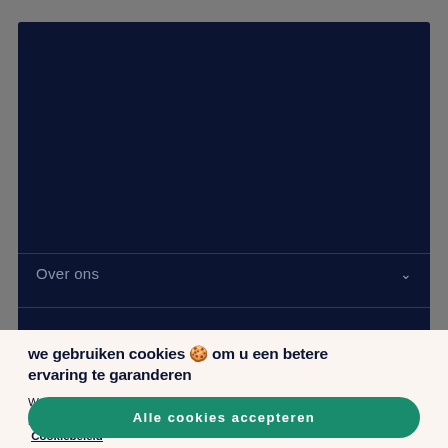[Figure (screenshot): Dark navy blue panel showing a website UI with a divider line and 'Over ons' navigation item with chevron]
we gebruiken cookies 🍪 om u een betere ervaring te garanderen
We gebruiken cookies om uw online winkelervaring te verbeteren en te personaliseren. Je kunt ze hieronder zelf aanpassen of lees meer in ons  Cookiebeleid
Alle cookies accepteren